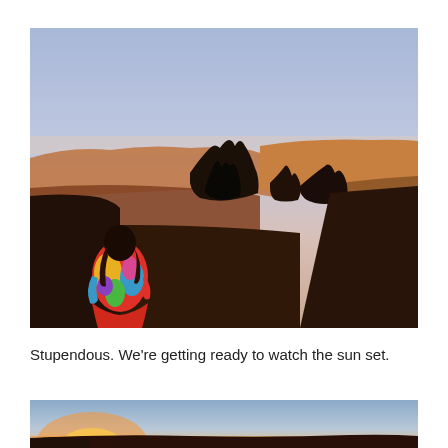[Figure (photo): Grand Canyon at sunset. A person wearing a colorful tie-dye hoodie stands on the left, viewed from behind, overlooking the vast canyon. Orange and red canyon walls glow in the warm sunset light. Dark silhouettes of trees are in the middle ground. The sky is pale blue with pinkish hues near the horizon.]
Stupendous. We're getting ready to watch the sun set.
[Figure (photo): Partial view of a sunset over a canyon landscape, showing a bright sun on the horizon with warm orange-yellow glow, silhouetted hills and flat terrain in the foreground, and a clear blue sky above.]